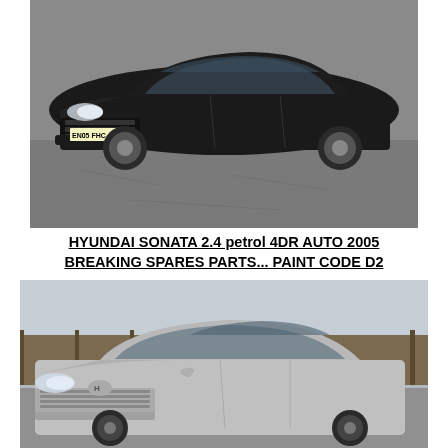[Figure (photo): Black Hyundai Sonata 2005 photographed from the front-left angle in a car park. Registration plate reads EN05 FHC.]
HYUNDAI SONATA 2.4 petrol 4DR AUTO 2005 BREAKING SPARES PARTS... PAINT CODE D2
[Figure (photo): Silver Hyundai Sonata photographed from the front-left angle outdoors near a wooden fence.]